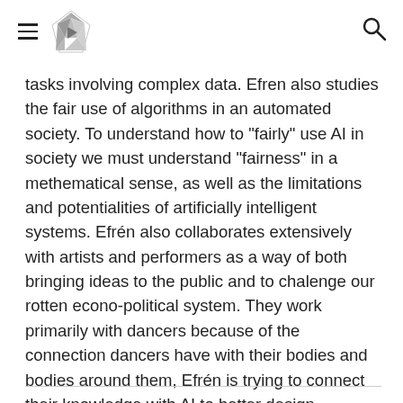[hamburger menu] [logo] [search icon]
tasks involving complex data. Efren also studies the fair use of algorithms in an automated society. To understand how to "fairly" use AI in society we must understand "fairness" in a methematical sense, as well as the limitations and potentialities of artificially intelligent systems. Efrén also collaborates extensively with artists and performers as a way of both bringing ideas to the public and to chalenge our rotten econo-political system. They work primarily with dancers because of the connection dancers have with their bodies and bodies around them, Efrén is trying to connect their knowledge with AI to better design strategies of protest and mass mobilization in general.